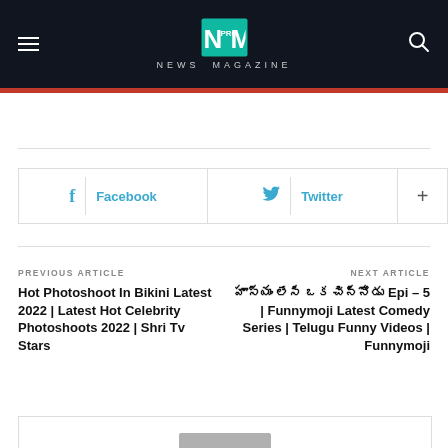NEWS MAGAZINE
Facebook  Twitter  +
PREVIOUS ARTICLE
Hot Photoshoot In Bikini Latest 2022 | Latest Hot Celebrity Photoshoots 2022 | Shri Tv Stars
NEXT ARTICLE
హాస్యం లేసి ఒక చిన్నోడు Epi – 5 | Funnymoji Latest Comedy Series | Telugu Funny Videos | Funnymoji
[Figure (photo): User profile placeholder image with grey background and circular avatar icon]